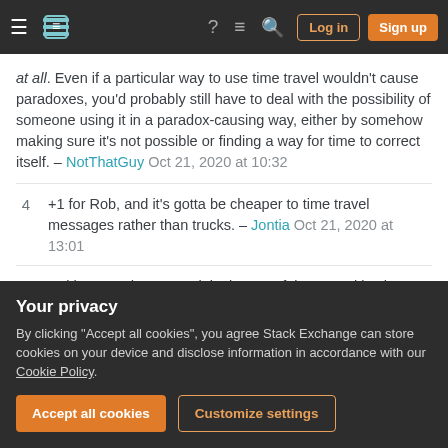Stack Exchange navigation bar with hamburger menu, logo, help, chat, search, Log in, Sign up buttons
at all. Even if a particular way to use time travel wouldn't cause paradoxes, you'd probably still have to deal with the possibility of someone using it in a paradox-causing way, either by somehow making sure it's not possible or finding a way for time to correct itself. – NotThatGuy Oct 21, 2020 at 10:32
+1 for Rob, and it's gotta be cheaper to time travel messages rather than trucks. – Jontia Oct 21, 2020 at 13:01
Writing paradox- or exploitation-proof time travel is almost impossible. Just accept that you'll need to fudge/handwave somewhere – Dragongeek Oct 21,
Your privacy
By clicking "Accept all cookies", you agree Stack Exchange can store cookies on your device and disclose information in accordance with our Cookie Policy.
Accept all cookies
Customize settings